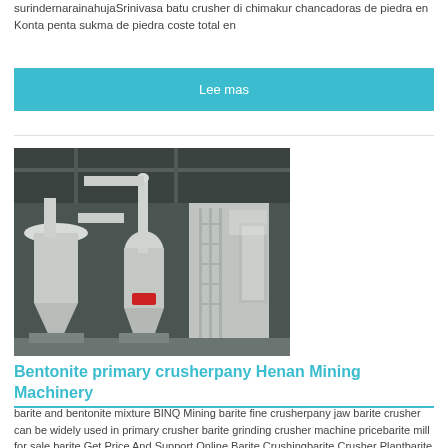surindernarainahujaSrinivasa batu crusher di chimakur chancadoras de piedra en Konta penta sukma de piedra coste total en
Lee mas
[Figure (photo): Industrial grinding/milling machinery in a factory setting — white dust collectors, cyclone separators, and milling equipment]
Bentonite primary crusherpany Henan Mining Machinery
barite and bentonite mixture BINQ Mining barite fine crusherpany jaw barite crusher can be widely used in primary crusher barite grinding crusher machine pricebarite mill for sale barite Get Price And Support Online Barite Crushingbarite Crusher Plantbarite Crusher barite ore crushed by jaw crusherthen crushed barite Live Chat